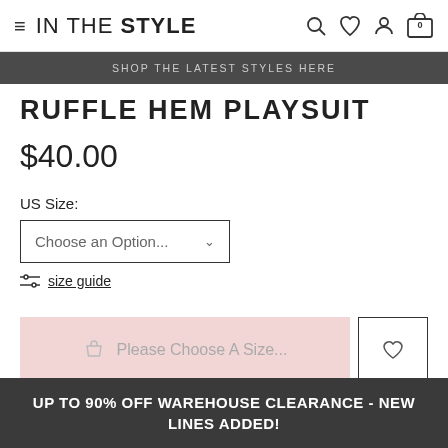IN THE STYLE
SHOP THE LATEST STYLES HERE
RUFFLE HEM PLAYSUIT
$40.00
US Size:
Choose an Option...
size guide
Please Choose A Size...
UP TO 90% OFF WAREHOUSE CLEARANCE - NEW LINES ADDED!